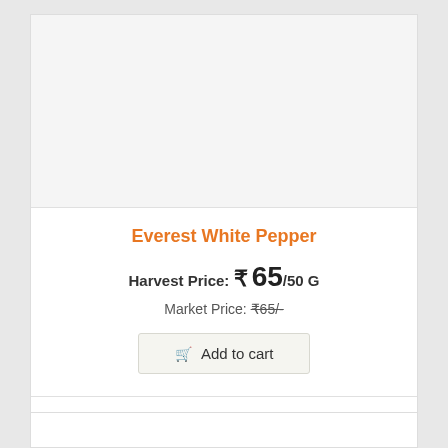[Figure (photo): Product image placeholder area (light gray background)]
Everest White Pepper
Harvest Price: ₹ 65/50 G
Market Price: ₹65/-
Add to cart
+ Add to wishlist